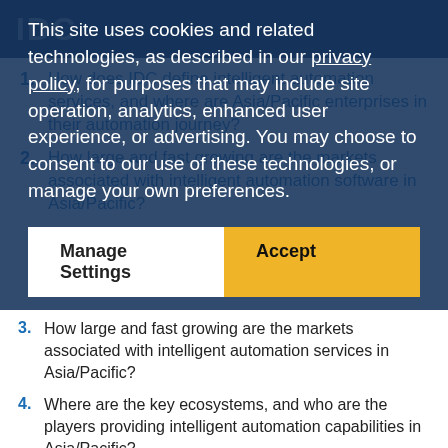IDC
This site uses cookies and related technologies, as described in our privacy policy, for purposes that may include site operation, analytics, enhanced user experience, or advertising. You may choose to consent to our use of these technologies, or manage your own preferences.
1. How does IDC define intelligent automation services, and where are Asia/Pacific enterprises in their automation journey?
2. How large and fast growing are the markets associated with intelligent automation software in Asia/Pacific?
3. How large and fast growing are the markets associated with intelligent automation services in Asia/Pacific?
4. Where are the key ecosystems, and who are the players providing intelligent automation capabilities in Asia/Pacific?
5. Where are Asia/Pacific enterprises in their AIOps journey? What are their key questions...